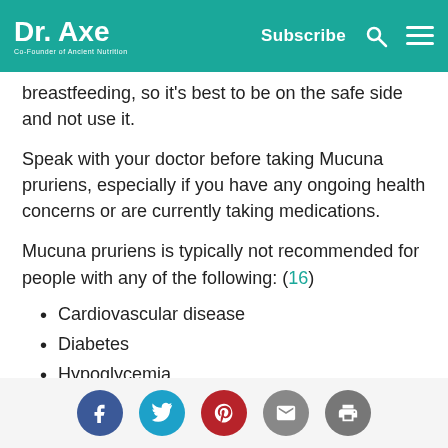Dr. Axe | Co-Founder of Ancient Nutrition | Subscribe
breastfeeding, so it's best to be on the safe side and not use it.
Speak with your doctor before taking Mucuna pruriens, especially if you have any ongoing health concerns or are currently taking medications.
Mucuna pruriens is typically not recommended for people with any of the following: (16)
Cardiovascular disease
Diabetes
Hypoglycemia
Liver disease
Social share icons: Facebook, Twitter, Pinterest, Email, Print